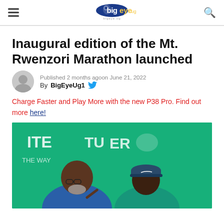bigeye.ug
Inaugural edition of the Mt. Rwenzori Marathon launched
Published 2 months ago on June 21, 2022
By BigEyeUg1
Charge Faster and Play More with the new P38 Pro. Find out more here!
[Figure (photo): Two people seated at a table in front of a green banner reading TUCKER. The person on the left is a middle-aged man with glasses and a grey beard wearing a blue polo shirt pointing with his finger. The person on the right is wearing a navy blue Nike cap and a teal polo shirt.]